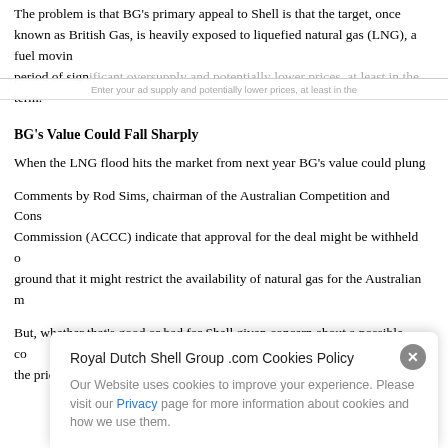The problem is that BG's primary appeal to Shell is that the target, once known as British Gas, is heavily exposed to liquefied natural gas (LNG), a fuel moving into a period of significant oversupply and potentially lower prices, at least in the near term.
BG's Value Could Fall Sharply
When the LNG flood hits the market from next year BG's value could plunge.
Comments by Rod Sims, chairman of the Australian Competition and Consumer Commission (ACCC) indicate that approval for the deal might be withheld on the ground that it might restrict the availability of natural gas for the Australian market.
But, whether that's good or bad for Shell given concern about a possible collapse in the price of liquefied natural gas (LNG) is the unknown factor.
Royal Dutch Shell Group .com Cookies Policy
Our Website uses cookies to improve your experience. Please visit our Privacy page for more information about cookies and how we use them.